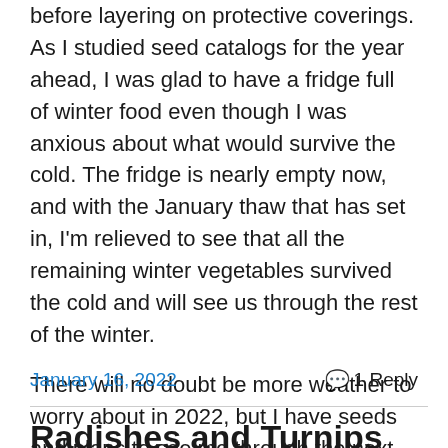before layering on protective coverings.  As I studied seed catalogs for the year ahead, I was glad to have a fridge full of winter food even though I was anxious about what would survive the cold.  The fridge is nearly empty now, and with the January thaw that has set in, I'm relieved to see that all the remaining winter vegetables survived the cold and will see us through the rest of the winter.
There will no doubt be more weather to worry about in 2022, but I have seeds and plans to see me through the next gardening year.  And lots of meals ahead with family and friends.
January 16, 2022
1 Reply
Radishes and Turnips